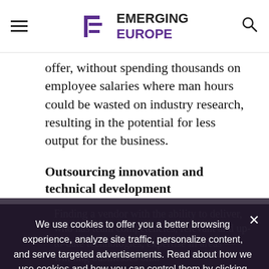Emerging Europe
offer, without spending thousands on employee salaries where man hours could be wasted on industry research, resulting in the potential for less output for the business.
Outsourcing innovation and technical development
Finding a vendor with the ability to deliver, who has team competencies, relevant and up-to-date technologies, expertise in areas — winning businesses on...transformation...NIA Direct is to harness help...Promoting a culture of honesty, integrity and digital excellence for their clients—
We use cookies to offer you a better browsing experience, analyze site traffic, personalize content, and serve targeted advertisements. Read about how we use cookies and how you can control them by clicking "Privacy Preferences". If you continue to use this site, you consent to our use of cookies. More...